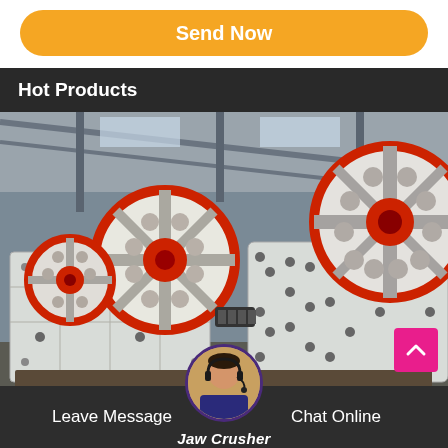Send Now
Hot Products
[Figure (photo): Industrial jaw crusher machines in a factory setting, showing large white machines with prominent red and black flywheels]
Leave Message
Chat Online
Jaw Crusher